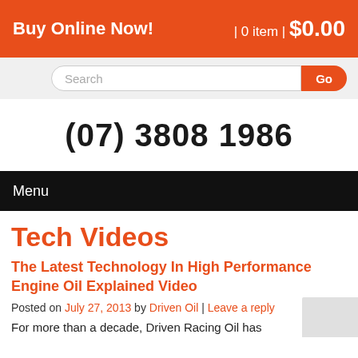Buy Online Now! | 0 item | $0.00
[Figure (screenshot): Search bar with Go button]
(07) 3808 1986
Menu
Tech Videos
The Latest Technology In High Performance Engine Oil Explained Video
Posted on July 27, 2013 by Driven Oil | Leave a reply
For more than a decade, Driven Racing Oil has